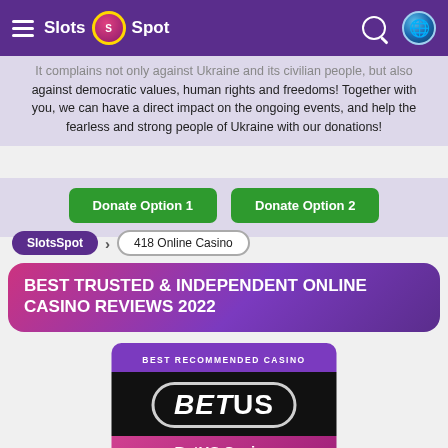Slots Spot
against democratic values, human rights and freedoms! Together with you, we can have a direct impact on the ongoing events, and help the fearless and strong people of Ukraine with our donations!
Donate Option 1    Donate Option 2
SlotsSpot > 418 Online Casino
BEST TRUSTED & INDEPENDENT ONLINE CASINO REVIEWS 2022
[Figure (logo): BetUS Casino logo on dark background with purple top banner reading BEST RECOMMENDED CASINO and pink/magenta bottom section with BetUS Casino text]